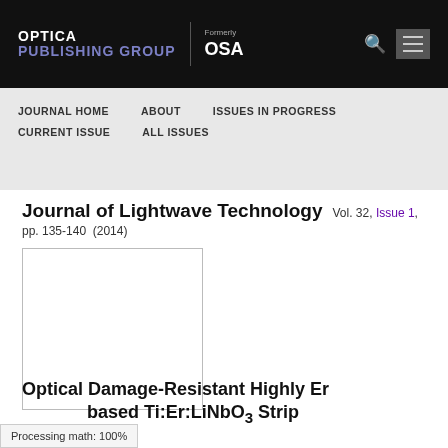OPTICA PUBLISHING GROUP | Formerly OSA
JOURNAL HOME   ABOUT   ISSUES IN PROGRESS   CURRENT ISSUE   ALL ISSUES
Journal of Lightwave Technology  Vol. 32,  Issue 1,  pp. 135-140  (2014)
[Figure (other): Article thumbnail image placeholder (white box with border)]
Optical Damage-Resistant Highly Er ...based Ti:Er:LiNbO3 Strip...